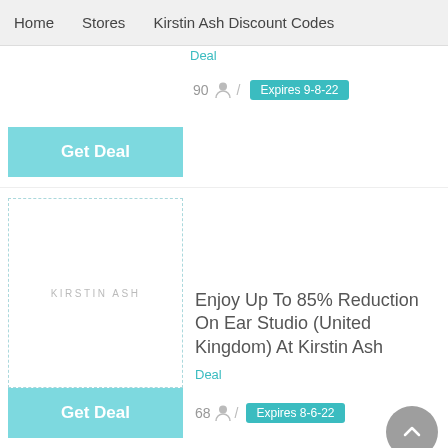Home   Stores   Kirstin Ash Discount Codes
Deal
90 / Expires 9-8-22
[Figure (logo): KIRSTIN ASH logo in dashed border box]
Enjoy Up To 85% Reduction On Ear Studio (United Kingdom) At Kirstin Ash
Deal
68 / Expires 8-6-22